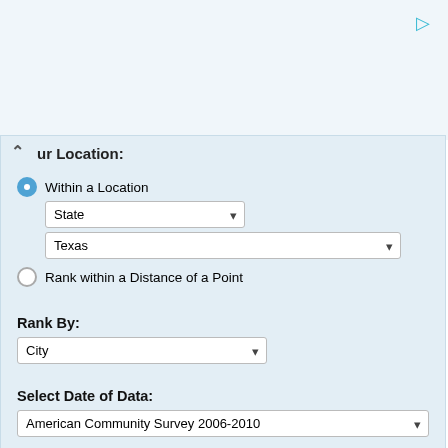ur Location:
Within a Location
State
Texas
Rank within a Distance of a Point
Rank By:
City
Select Date of Data:
American Community Survey 2006-2010
Limit to Locations with Population:
to  (number only, can be blank)
Submit